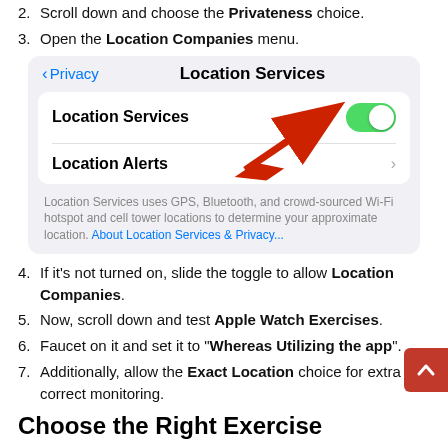2. Scroll down and choose the Privateness choice.
3. Open the Location Companies menu.
[Figure (screenshot): iOS Settings screenshot showing Privacy > Location Services screen with Location Services toggle turned on (green) and a red arrow pointing to the toggle, plus Location Alerts row with chevron, and footer text about Location Services using GPS, Bluetooth, and crowd-sourced Wi-Fi hotspot and cell tower locations with About Location Services & Privacy link.]
4. If it's not turned on, slide the toggle to allow Location Companies.
5. Now, scroll down and test Apple Watch Exercises.
6. Faucet on it and set it to "Whereas Utilizing the app".
7. Additionally, allow the Exact Location choice for extra correct monitoring.
Choose the Right Exercise